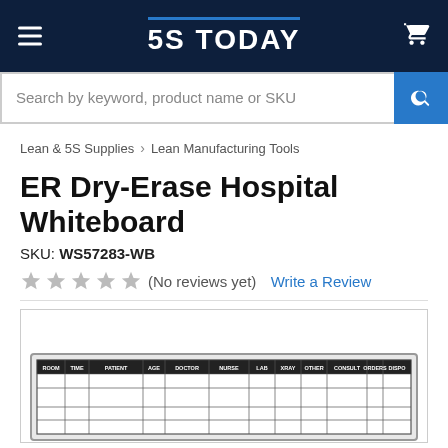5S TODAY
Search by keyword, product name or SKU
Lean & 5S Supplies > Lean Manufacturing Tools
ER Dry-Erase Hospital Whiteboard
SKU: WS57283-WB
(No reviews yet) Write a Review
[Figure (photo): ER Dry-Erase Hospital Whiteboard product image showing a whiteboard with columns: ROOM, TIME, PATIENT, AGE, DOCTOR, NURSE, LAB, XRAY, OTHER, CONSULT, ORDERS, DISPO]